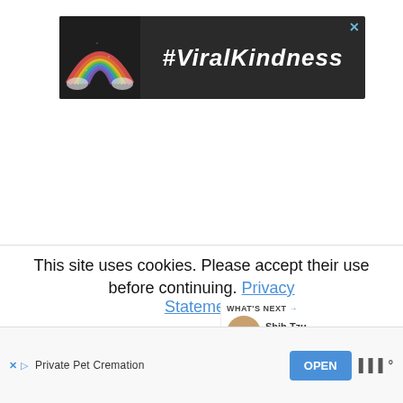[Figure (screenshot): Advertisement banner with dark background showing a chalk rainbow drawing on the left and white bold italic text '#ViralKindness' on the right, with a close (X) button in the top-right corner]
[Figure (screenshot): Two circular UI buttons: a blue filled circle with a white heart icon (favorite/like button) and a white circle with a share icon (share button)]
This site uses cookies. Please accept their use before continuing. Privacy Statement
[Figure (screenshot): What's Next panel showing a thumbnail of a dog and text 'Shih Tzu Dads: Miracl...']
[Figure (screenshot): Bottom advertisement bar for 'Private Pet Cremation' with an OPEN button and app logo, including X and play icons]